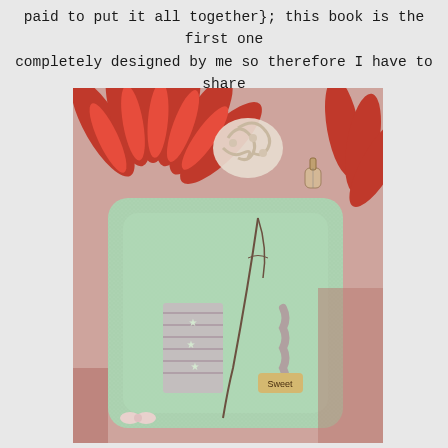paid to put it all together}; this book is the first one completely designed by me so therefore I have to share it.
[Figure (photo): A handmade greeting card or scrapbook page featuring a mint green glittery shaped panel with decorative elements including a large red paper flower/fan, white curly embellishments, a small guitar charm, stars, striped paper pieces, twine, and a small tag reading 'Sweet'. The background has a pink/coral toile pattern.]